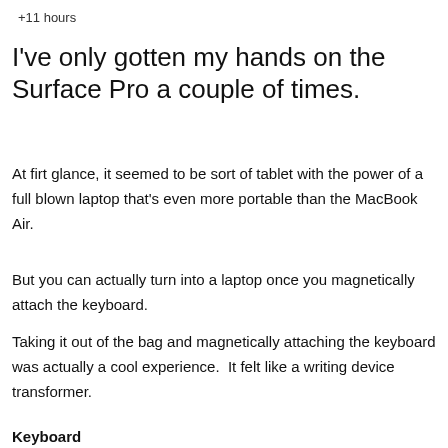+11 hours
I've only gotten my hands on the Surface Pro a couple of times.
At firt glance, it seemed to be sort of tablet with the power of a full blown laptop that's even more portable than the MacBook Air.
But you can actually turn into a laptop once you magnetically attach the keyboard.
Taking it out of the bag and magnetically attaching the keyboard was actually a cool experience.  It felt like a writing device transformer.
Keyboard